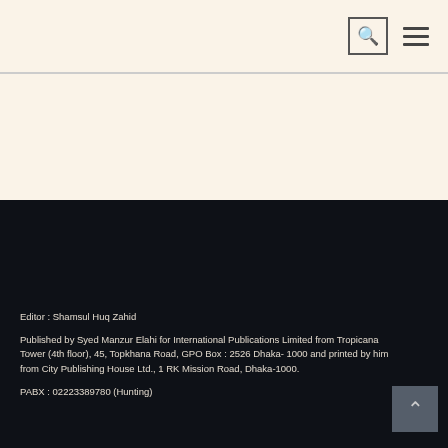[Figure (screenshot): Top navigation bar with search icon button and hamburger menu icon on a beige/cream background]
Editor : Shamsul Huq Zahid
Published by Syed Manzur Elahi for International Publications Limited from Tropicana Tower (4th floor), 45, Topkhana Road, GPO Box : 2526 Dhaka- 1000 and printed by him from City Publishing House Ltd., 1 RK Mission Road, Dhaka-1000.
PABX : 02223389780 (Hunting)